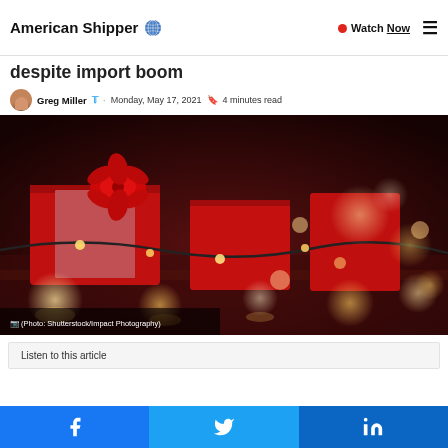American Shipper · Watch Now
despite import boom
Greg Miller  · Monday, May 17, 2021  4 minutes read
[Figure (photo): Close-up photo of wrapped red gift boxes with a red bow, surrounded by bokeh Christmas lights on a dark background. Caption: (Photo: Shutterstock/Impact Photography)]
Listen to this article